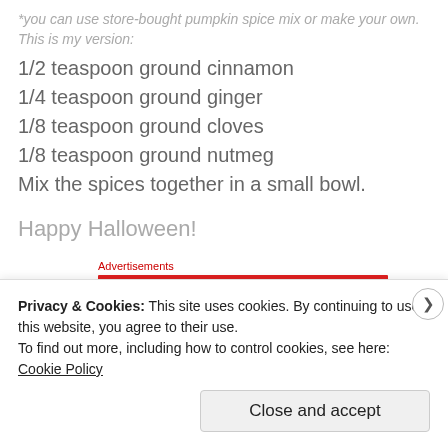*you can use store-bought pumpkin spice mix or make your own. This is my version:
1/2 teaspoon ground cinnamon
1/4 teaspoon ground ginger
1/8 teaspoon ground cloves
1/8 teaspoon ground nutmeg
Mix the spices together in a small bowl.
Happy Halloween!
Advertisements
Privacy & Cookies: This site uses cookies. By continuing to use this website, you agree to their use.
To find out more, including how to control cookies, see here: Cookie Policy